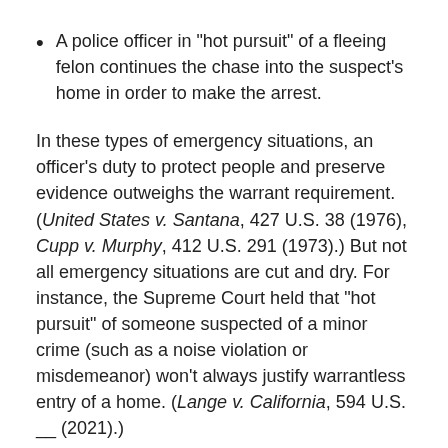A police officer in "hot pursuit" of a fleeing felon continues the chase into the suspect's home in order to make the arrest.
In these types of emergency situations, an officer's duty to protect people and preserve evidence outweighs the warrant requirement. (United States v. Santana, 427 U.S. 38 (1976), Cupp v. Murphy, 412 U.S. 291 (1973).) But not all emergency situations are cut and dry. For instance, the Supreme Court held that "hot pursuit" of someone suspected of a minor crime (such as a noise violation or misdemeanor) won't always justify warrantless entry of a home. (Lange v. California, 594 U.S. __ (2021).)